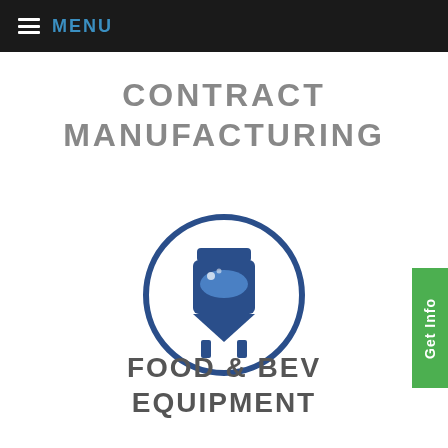MENU
CONTRACT MANUFACTURING
[Figure (illustration): A circular icon outline in dark blue containing a food/beverage industrial tank or fermenter vessel icon in dark blue, representing food and beverage equipment manufacturing.]
FOOD & BEV EQUIPMENT